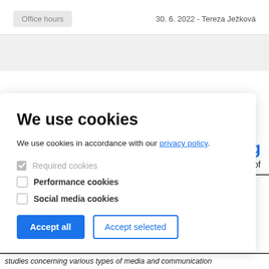Office hours | 30. 6. 2022 - Tereza Ježková
We use cookies
We use cookies in accordance with our privacy policy.
Required cookies (checked)
Performance cookies
Social media cookies
Accept all | Accept selected
...ging
d of
er
ication
studies concerning various types of media and communication